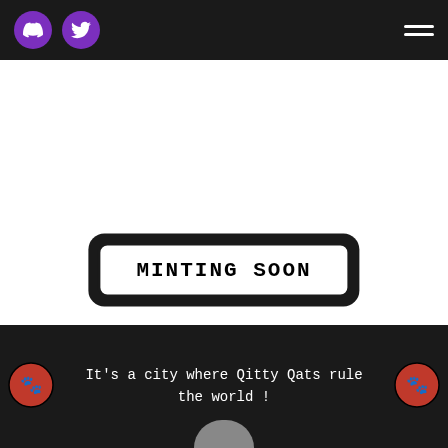Header navigation with Discord and Twitter icons and hamburger menu
[Figure (screenshot): White blank content area]
MINTING SOON
It's a city where Qitty Qats rule the world !